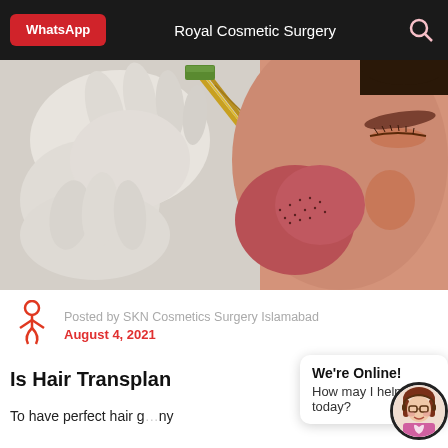WhatsApp   Royal Cosmetic Surgery
[Figure (photo): Close-up photo of a gloved hand using surgical tweezers/forceps to implant hair grafts into a patient's scalp during a hair transplant procedure. The patient's scalp shows redness and stubble from the procedure.]
Posted by SKN Cosmetics Surgery Islamabad
August 4, 2021
Is Hair Transplan
To have perfect hair g...ny
[Figure (illustration): Chat widget popup showing 'We're Online! How may I help you today?' with a customer service avatar icon.]